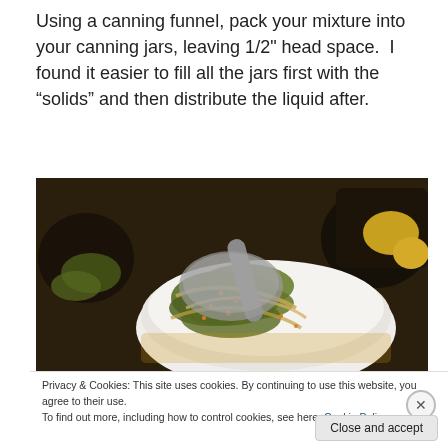Using a canning funnel, pack your mixture into your canning jars, leaving 1/2" head space.  I found it easier to fill all the jars first with the “solids” and then distribute the liquid after.
[Figure (photo): A ladle scooping pickled cucumber slices with mustard seeds and spices into a white bowl, with more pickle jars and produce visible in the background.]
Privacy & Cookies: This site uses cookies. By continuing to use this website, you agree to their use.
To find out more, including how to control cookies, see here: Cookie Policy
Close and accept